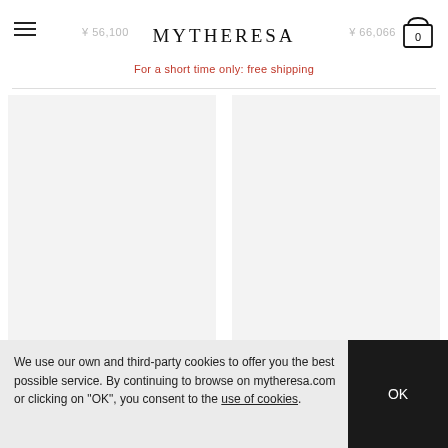MYTHERESA
For a short time only: free shipping
[Figure (photo): Product image placeholder for Acne Studios item 1]
ACNE STUDIOS
¥ 46,200
[Figure (photo): Product image placeholder for Acne Studios item 2]
ACNE STUDIOS
¥ 62,899
We use our own and third-party cookies to offer you the best possible service. By continuing to browse on mytheresa.com or clicking on "OK", you consent to the use of cookies.